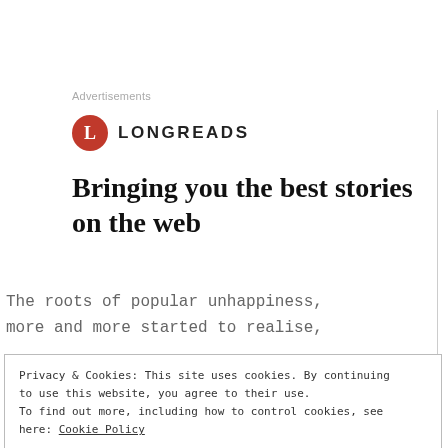Advertisements
[Figure (logo): Longreads logo: red circle with white letter L, followed by LONGREADS in bold caps]
Bringing you the best stories on the web
The roots of popular unhappiness, more and more started to realise,
Privacy & Cookies: This site uses cookies. By continuing to use this website, you agree to their use. To find out more, including how to control cookies, see here: Cookie Policy
Close and accept
outwards the lockdown had now turned